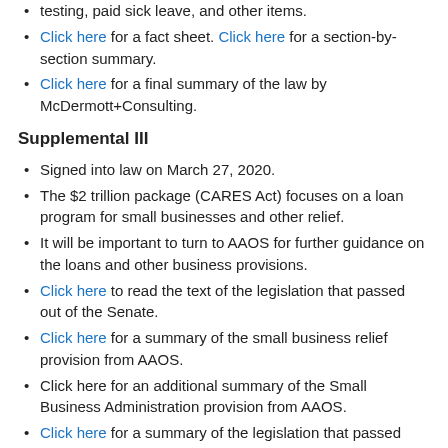testing, paid sick leave, and other items.
Click here for a fact sheet. Click here for a section-by-section summary.
Click here for a final summary of the law by McDermott+Consulting.
Supplemental III
Signed into law on March 27, 2020.
The $2 trillion package (CARES Act) focuses on a loan program for small businesses and other relief.
It will be important to turn to AAOS for further guidance on the loans and other business provisions.
Click here to read the text of the legislation that passed out of the Senate.
Click here for a summary of the small business relief provision from AAOS.
Click here for an additional summary of the Small Business Administration provision from AAOS.
Click here for a summary of the legislation that passed...